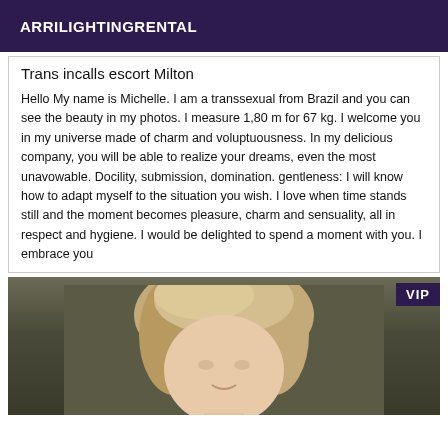ARRILIGHTINGRENTAL
Trans incalls escort Milton
Hello My name is Michelle. I am a transsexual from Brazil and you can see the beauty in my photos. I measure 1,80 m for 67 kg. I welcome you in my universe made of charm and voluptuousness. In my delicious company, you will be able to realize your dreams, even the most unavowable. Docility, submission, domination. gentleness: I will know how to adapt myself to the situation you wish. I love when time stands still and the moment becomes pleasure, charm and sensuality, all in respect and hygiene. I would be delighted to spend a moment with you. I embrace you
[Figure (photo): Photo of a person with blonde hair, partially visible, with a VIP badge in the upper right corner]